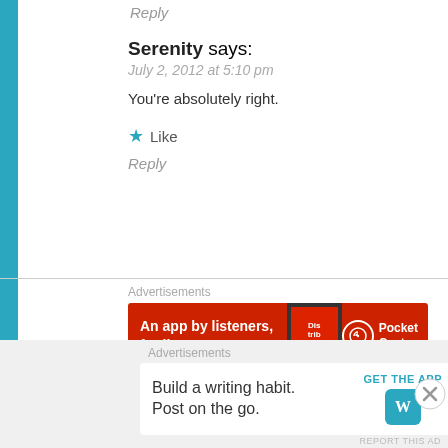Reply
Serenity says:
July 2, 2012 at 5:10 pm
You're absolutely right.
Like
Reply
Advertisements
[Figure (other): Pocket Casts advertisement banner: red background with text 'An app by listeners, for listeners.' and Pocket Casts logo]
REPORT THIS AD
J James says:
Advertisements
[Figure (other): WordPress advertisement: 'Build a writing habit. Post on the go.' with GET THE APP button and WordPress logo]
REPORT THIS AD